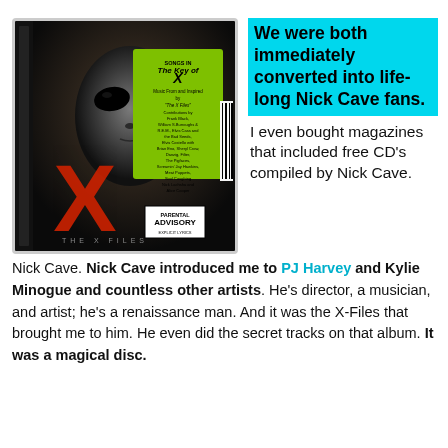[Figure (photo): CD cover of the X-Files soundtrack album featuring a gray alien face and a large red X logo, with a green sticker listing artists and a Parental Advisory label]
We were both immediately converted into life-long Nick Cave fans.
I even bought magazines that included free CD's compiled by Nick Cave. Nick Cave introduced me to PJ Harvey and Kylie Minogue and countless other artists. He's director, a musician, and artist; he's a renaissance man. And it was the X-Files that brought me to him. He even did the secret tracks on that album. It was a magical disc.